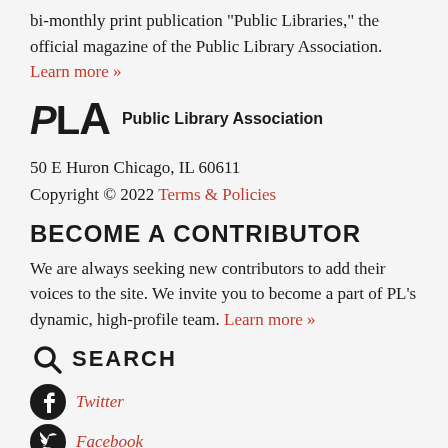bi-monthly print publication “Public Libraries,” the official magazine of the Public Library Association. Learn more »
[Figure (logo): PLA Public Library Association logo with stylized bold italic PLA text and organization name]
50 E Huron Chicago, IL 60611
Copyright © 2022 Terms & Policies
BECOME A CONTRIBUTOR
We are always seeking new contributors to add their voices to the site. We invite you to become a part of PL’s dynamic, high-profile team. Learn more »
SEARCH
Twitter
Facebook
Pinterest